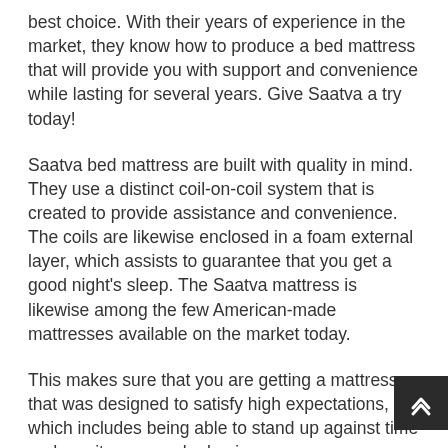best choice. With their years of experience in the market, they know how to produce a bed mattress that will provide you with support and convenience while lasting for several years. Give Saatva a try today!
Saatva bed mattress are built with quality in mind. They use a distinct coil-on-coil system that is created to provide assistance and convenience. The coils are likewise enclosed in a foam external layer, which assists to guarantee that you get a good night's sleep. The Saatva mattress is likewise among the few American-made mattresses available on the market today.
This makes sure that you are getting a mattress that was designed to satisfy high expectations, which includes being able to stand up against time and use it on a regular basis.